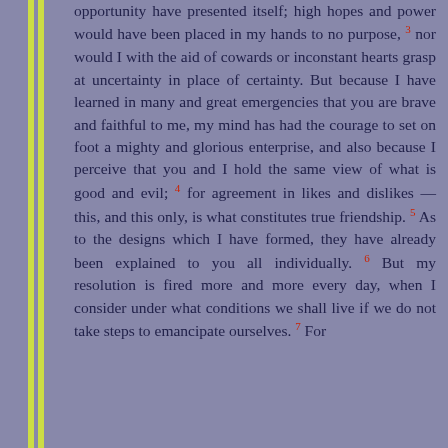opportunity have presented itself; high hopes and power would have been placed in my hands to no purpose, 3 nor would I with the aid of cowards or inconstant hearts grasp at uncertainty in place of certainty. But because I have learned in many and great emergencies that you are brave and faithful to me, my mind has had the courage to set on foot a mighty and glorious enterprise, and also because I perceive that you and I hold the same view of what is good and evil; 4 for agreement in likes and dislikes — this, and this only, is what constitutes true friendship. 5 As to the designs which I have formed, they have already been explained to you all individually. 6 But my resolution is fired more and more every day, when I consider under what conditions we shall live if we do not take steps to emancipate ourselves. 7 For